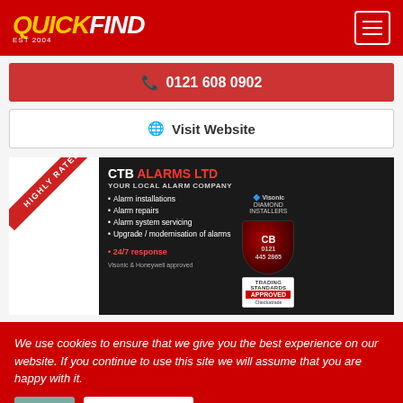[Figure (logo): QuickFind logo - QUICK in yellow italic bold, FIND in white italic bold, EST 2004 below, red background header with hamburger menu icon on right]
📞 0121 608 0902
🌐 Visit Website
[Figure (illustration): CTB Alarms Ltd advertisement on dark background. Highly Rated ribbon diagonal top-left. Text: CTB ALARMS LTD YOUR LOCAL ALARM COMPANY. Bullet points: Alarm installations, Alarm repairs, Alarm system servicing, Upgrade/modernisation of alarms, 24/7 response. Visonic Diamond Installers badge, Trading Standards Approved badge, phone 0121 445 2865.]
We use cookies to ensure that we give you the best experience on our website. If you continue to use this site we will assume that you are happy with it.
Ok
Read more